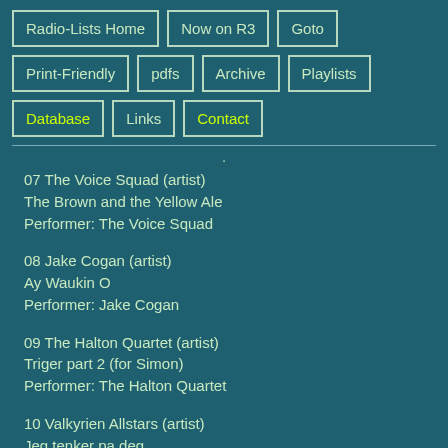Radio-Lists Home | Now on R3 | Goto | Print-Friendly | pdfs | Archive | Playlists | Database | Links | Contact
07 The Voice Squad (artist)
The Brown and the Yellow Ale
Performer: The Voice Squad
08 Jake Cogan (artist)
Ay Waukin O
Performer: Jake Cogan
09 The Halton Quartet (artist)
Triger part 2 (for Simon)
Performer: The Halton Quartet
10 Valkyrien Allstars (artist)
Jeg tenker pa deg
Performer: Valkyrien Allstars